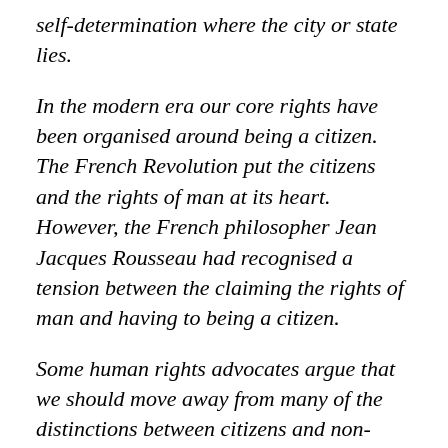self-determination where the city or state lies.
In the modern era our core rights have been organised around being a citizen. The French Revolution put the citizens and the rights of man at its heart. However, the French philosopher Jean Jacques Rousseau had recognised a tension between the claiming the rights of man and having to being a citizen.
Some human rights advocates argue that we should move away from many of the distinctions between citizens and non-citizens, and ground more rights on universal human rights. What would we gain or lose